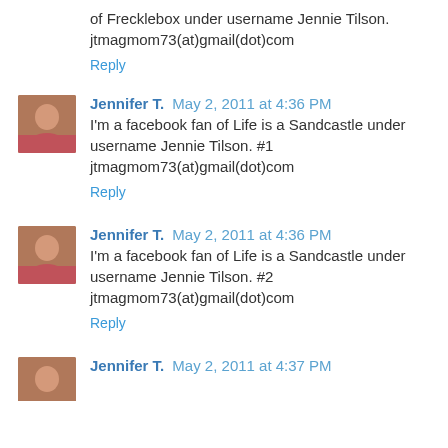of Frecklebox under username Jennie Tilson.
jtmagmom73(at)gmail(dot)com
Reply
Jennifer T. May 2, 2011 at 4:36 PM
I'm a facebook fan of Life is a Sandcastle under username Jennie Tilson. #1
jtmagmom73(at)gmail(dot)com
Reply
Jennifer T. May 2, 2011 at 4:36 PM
I'm a facebook fan of Life is a Sandcastle under username Jennie Tilson. #2
jtmagmom73(at)gmail(dot)com
Reply
Jennifer T. May 2, 2011 at 4:37 PM